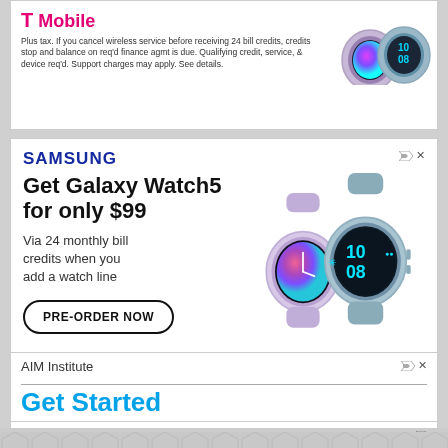[Figure (illustration): Top portion of a T-Mobile Samsung Galaxy Watch 5 advertisement showing watch images and T-Mobile logo at top]
Plus tax. If you cancel wireless service before receiving 24 bill credits, credits stop and balance on req'd finance agmt is due. Qualifying credit, service, & device req'd. Support charges may apply. See details.
[Figure (illustration): Samsung advertisement for Galaxy Watch 5. Shows Samsung logo, headline 'Get Galaxy Watch 5 for only $99', subtext 'Via 24 monthly bill credits when you add a watch line', PRE-ORDER NOW button, two Galaxy Watch 5 product images (lavender and blue), T-Mobile logo, and fine print about bill credits.]
Plus tax. If you cancel wireless service before receiving 24 bill credits, credits stop and balance on req'd finance agmt is due. Qualifying credit, service, & device req'd. Support charges may apply. See details.
[Figure (illustration): AIM Institute advertisement partial showing logo text 'AIM Institute' and beginning of 'Get Started' headline in blue]
[Figure (illustration): Bottom advertisement partial with hexagon tile pattern background]